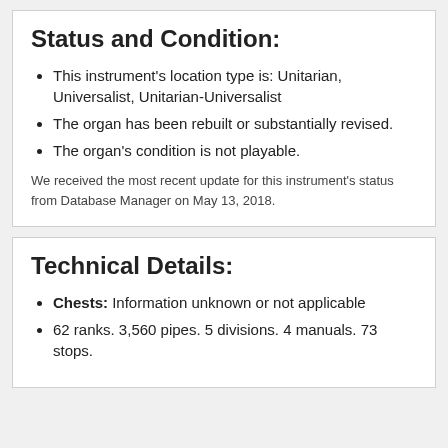Status and Condition:
This instrument's location type is: Unitarian, Universalist, Unitarian-Universalist
The organ has been rebuilt or substantially revised.
The organ's condition is not playable.
We received the most recent update for this instrument's status from Database Manager on May 13, 2018.
Technical Details:
Chests: Information unknown or not applicable
62 ranks. 3,560 pipes. 5 divisions. 4 manuals. 73 stops.